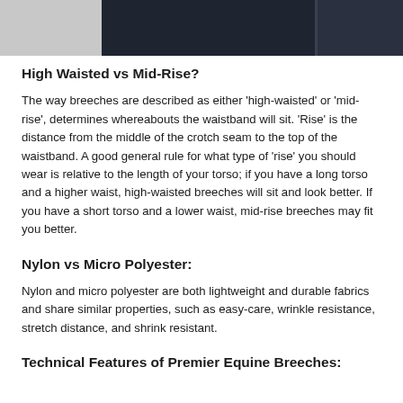[Figure (photo): Partial view of a person wearing dark navy/black breeches or riding trousers, cropped image showing the torso and leg area against a light background.]
High Waisted vs Mid-Rise?
The way breeches are described as either 'high-waisted' or 'mid-rise', determines whereabouts the waistband will sit. 'Rise' is the distance from the middle of the crotch seam to the top of the waistband. A good general rule for what type of 'rise' you should wear is relative to the length of your torso; if you have a long torso and a higher waist, high-waisted breeches will sit and look better. If you have a short torso and a lower waist, mid-rise breeches may fit you better.
Nylon vs Micro Polyester:
Nylon and micro polyester are both lightweight and durable fabrics and share similar properties, such as easy-care, wrinkle resistance, stretch distance, and shrink resistant.
Technical Features of Premier Equine Breeches: